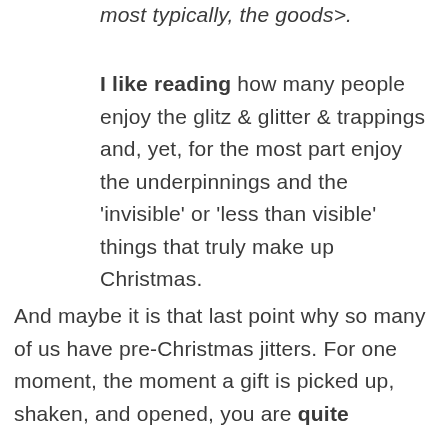most typically, the goods>.
I like reading how many people enjoy the glitz & glitter & trappings and, yet, for the most part enjoy the underpinnings and the 'invisible' or 'less than visible' things that truly make up Christmas.
And maybe it is that last point why so many of us have pre-Christmas jitters. For one moment, the moment a gift is picked up, shaken, and opened, you are quite